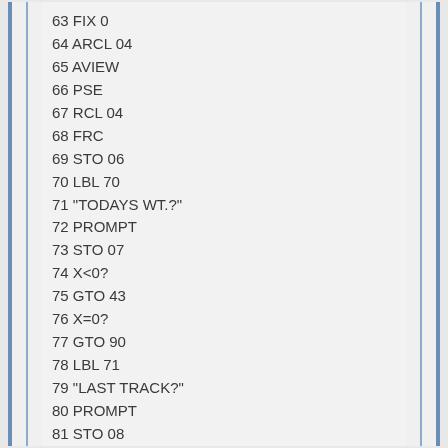63 FIX 0
64 ARCL 04
65 AVIEW
66 PSE
67 RCL 04
68 FRC
69 STO 06
70 LBL 70
71 "TODAYS WT.?"
72 PROMPT
73 STO 07
74 X<0?
75 GTO 43
76 X=0?
77 GTO 90
78 LBL 71
79 "LAST TRACK?"
80 PROMPT
81 STO 08
82 X<=0?
83 GTO 70
84 SF 12
85 "LAST DIS.?"
86 PROMPT
87 GTO 71